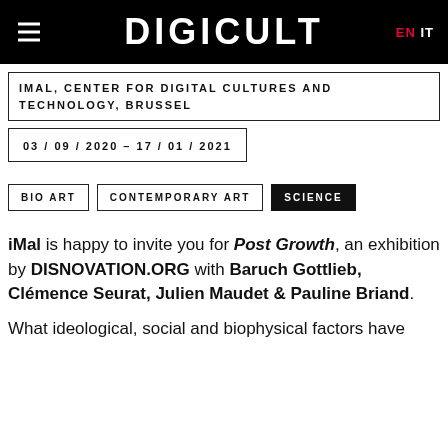DIGICULT
IMAL, CENTER FOR DIGITAL CULTURES AND TECHNOLOGY, BRUSSEL
03 / 09 / 2020 – 17 / 01 / 2021
BIO ART
CONTEMPORARY ART
SCIENCE
iMal is happy to invite you for Post Growth, an exhibition by DISNOVATION.ORG with Baruch Gottlieb, Clémence Seurat, Julien Maudet & Pauline Briand.
What ideological, social and biophysical factors have